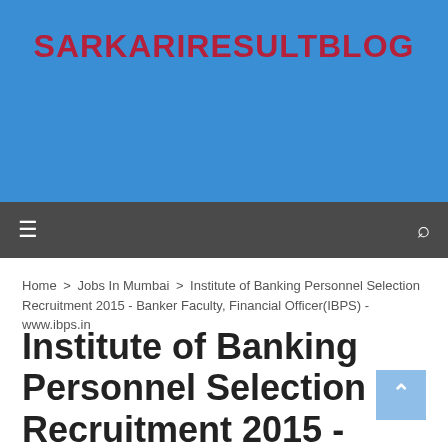SARKARIRESULTBLOG
[Figure (screenshot): Blue banner header background with site title]
☰ navigation menu icon and search icon
Home > Jobs In Mumbai > Institute of Banking Personnel Selection Recruitment 2015 - Banker Faculty, Financial Officer(IBPS) - www.ibps.in
Institute of Banking Personnel Selection Recruitment 2015 - Banker